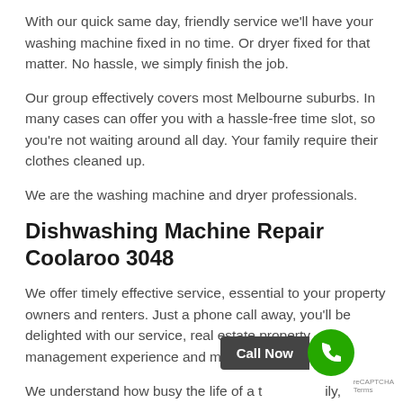With our quick same day, friendly service we'll have your washing machine fixed in no time. Or dryer fixed for that matter. No hassle, we simply finish the job.
Our group effectively covers most Melbourne suburbs. In many cases can offer you with a hassle-free time slot, so you're not waiting around all day. Your family require their clothes cleaned up.
We are the washing machine and dryer professionals.
Dishwashing Machine Repair Coolaroo 3048
We offer timely effective service, essential to your property owners and renters. Just a phone call away, you'll be delighted with our service, real estate property management experience and most of all our price.
We understand how busy the life of a typical family, dishwasher is one of the most valued appliances in the